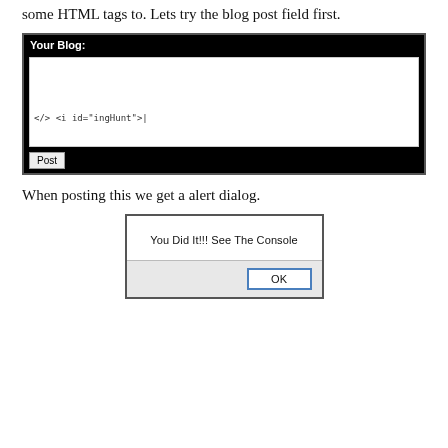some HTML tags to. Lets try the blog post field first.
[Figure (screenshot): Screenshot of a blog post form with a black header labeled 'Your Blog:', a white textarea containing '</> <i id="ingHunt">|', and a 'Post' button at the bottom.]
When posting this we get a alert dialog.
[Figure (screenshot): Screenshot of a browser alert dialog showing the message 'You Did It!!! See The Console' with an OK button.]